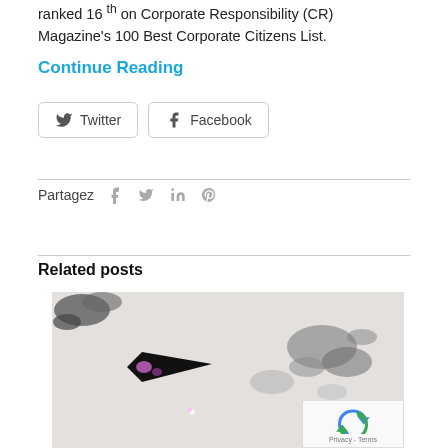ranked 16th on Corporate Responsibility (CR) Magazine's 100 Best Corporate Citizens List.
Continue Reading
[Figure (screenshot): Share buttons for Twitter and Facebook with icons]
Partagez   f   y   in   P
Related posts
[Figure (photo): Microscope image showing a dark fish-shaped crystal or mineral specimen on a light grey background with dark deposits scattered around]